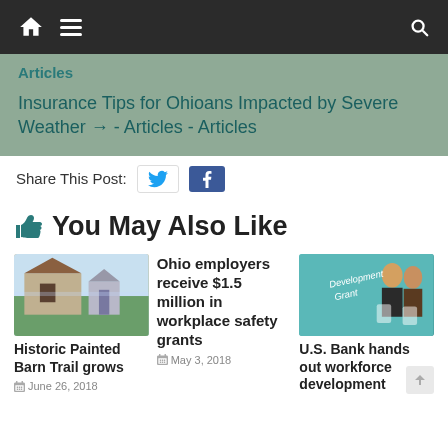Navigation bar with home, menu, search icons
Articles
Insurance Tips for Ohioans Impacted by Severe Weather → - Articles - Articles
Share This Post:
👍 You May Also Like
[Figure (photo): Photo of a historic painted barn trail with a silo and farm building]
Historic Painted Barn Trail grows
June 26, 2018
Ohio employers receive $1.5 million in workplace safety grants
May 3, 2018
[Figure (photo): Development Grant image with two women holding documents on a teal background]
U.S. Bank hands out workforce development